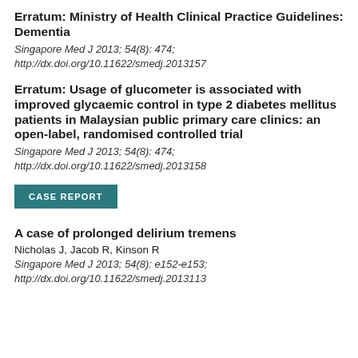Erratum: Ministry of Health Clinical Practice Guidelines: Dementia
Singapore Med J 2013; 54(8): 474; http://dx.doi.org/10.11622/smedj.2013157
Erratum: Usage of glucometer is associated with improved glycaemic control in type 2 diabetes mellitus patients in Malaysian public primary care clinics: an open-label, randomised controlled trial
Singapore Med J 2013; 54(8): 474; http://dx.doi.org/10.11622/smedj.2013158
CASE REPORT
A case of prolonged delirium tremens
Nicholas J, Jacob R, Kinson R
Singapore Med J 2013; 54(8): e152-e153; http://dx.doi.org/10.11622/smedj.2013113